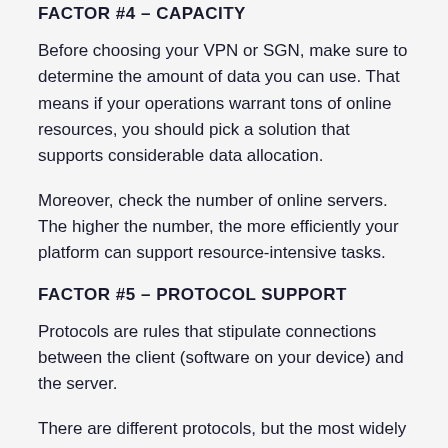FACTOR #4 – CAPACITY
Before choosing your VPN or SGN, make sure to determine the amount of data you can use. That means if your operations warrant tons of online resources, you should pick a solution that supports considerable data allocation.
Moreover, check the number of online servers. The higher the number, the more efficiently your platform can support resource-intensive tasks.
FACTOR #5 – PROTOCOL SUPPORT
Protocols are rules that stipulate connections between the client (software on your device) and the server.
There are different protocols, but the most widely